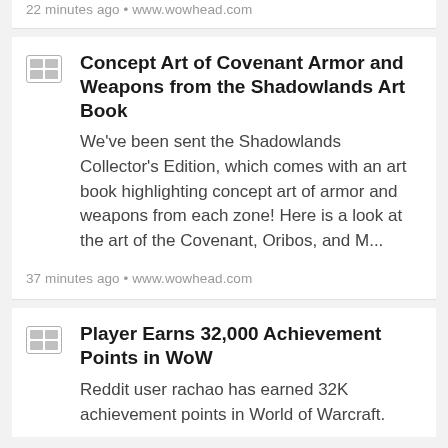22 minutes ago • www.wowhead.com
Concept Art of Covenant Armor and Weapons from the Shadowlands Art Book
We've been sent the Shadowlands Collector's Edition, which comes with an art book highlighting concept art of armor and weapons from each zone! Here is a look at the art of the Covenant, Oribos, and M...
37 minutes ago • www.wowhead.com
Player Earns 32,000 Achievement Points in WoW
Reddit user rachao has earned 32K achievement points in World of Warcraft.